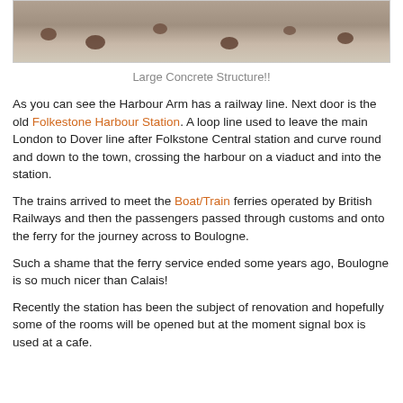[Figure (photo): Photograph of a large concrete structure with stones/markings visible on surface]
Large Concrete Structure!!
As you can see the Harbour Arm has a railway line. Next door is the old Folkestone Harbour Station. A loop line used to leave the main London to Dover line after Folkstone Central station and curve round and down to the town, crossing the harbour on a viaduct and into the station.
The trains arrived to meet the Boat/Train ferries operated by British Railways and then the passengers passed through customs and onto the ferry for the journey across to Boulogne.
Such a shame that the ferry service ended some years ago, Boulogne is so much nicer than Calais!
Recently the station has been the subject of renovation and hopefully some of the rooms will be opened but at the moment signal box is used at a cafe.